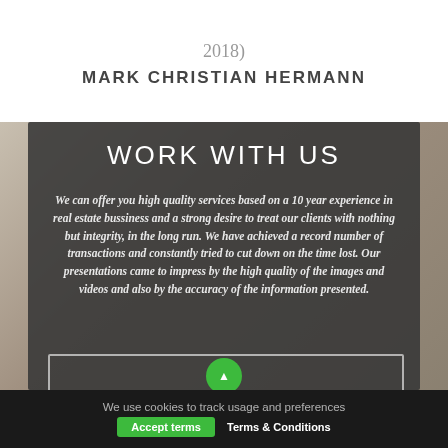2018)
MARK CHRISTIAN HERMANN
WORK WITH US
We can offer you high quality services based on a 10 year experience in real estate bussiness and a strong desire to treat our clients with nothing but integrity, in the long run. We have achieved a record number of transactions and constantly tried to cut down on the time lost. Our presentations came to impress by the high quality of the images and videos and also by the accuracy of the information presented.
We use cookies to track usage and preferences
Accept terms   Terms & Conditions